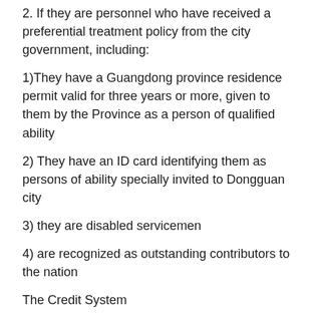2. If they are personnel who have received a preferential treatment policy from the city government, including:
1)They have a Guangdong province residence permit valid for three years or more, given to them by the Province as a person of qualified ability
2) They have an ID card identifying them as persons of ability specially invited to Dongguan city
3) they are disabled servicemen
4) are recognized as outstanding contributors to the nation
The Credit System
Application sequence: The Bureau of Education announces the situation regarding school applications (5th month) — applicants submit their materials (5th to 6th